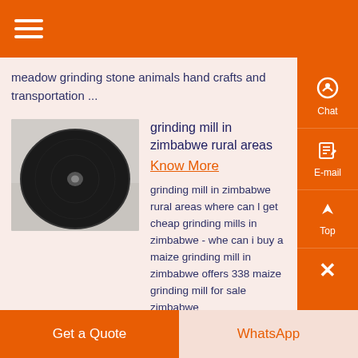Menu / Navigation header bar
meadow grinding stone animals hand crafts and transportation ...
[Figure (photo): Close-up photo of a black circular grinding mill disc/plate viewed from above]
grinding mill in zimbabwe rural areas
Know More
grinding mill in zimbabwe rural areas where can l get cheap grinding mills in zimbabwe - whe can i buy a maize grinding mill in zimbabwe offers 338 maize grinding mill for sale zimbabwe
Get a Quote | WhatsApp